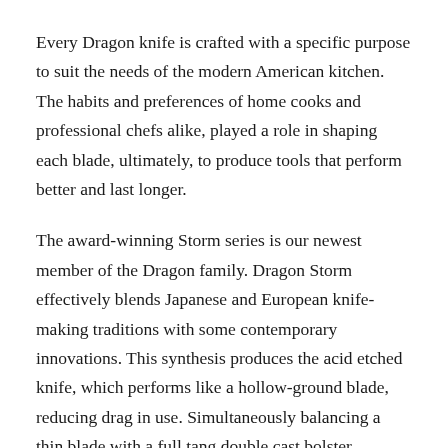Every Dragon knife is crafted with a specific purpose to suit the needs of the modern American kitchen. The habits and preferences of home cooks and professional chefs alike, played a role in shaping each blade, ultimately, to produce tools that perform better and last longer.
The award-winning Storm series is our newest member of the Dragon family. Dragon Storm effectively blends Japanese and European knife-making traditions with some contemporary innovations. This synthesis produces the acid etched knife, which performs like a hollow-ground blade, reducing drag in use. Simultaneously balancing a thin blade with a full tang double cast bolster construction, each knife features a mosaic rivet on its handle. The ergonomic and durable handles are made of black G10 – making the knives dishwasher safe. The Dragon hallmark fine-grained metal, BD1N nitrogen steel, with 63 HRC Rockwell hardness